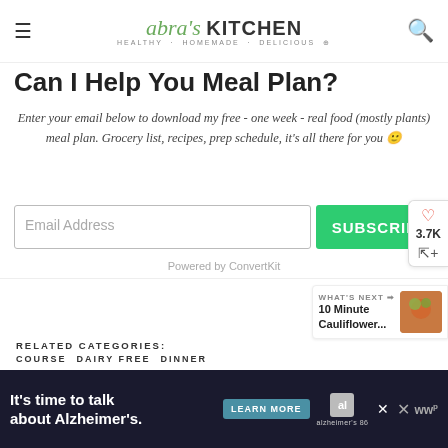Abra's Kitchen · HEALTHY · HOMEMADE · DELICIOUS
Can I Help You Meal Plan?
Enter your email below to download my free - one week - real food (mostly plants) meal plan. Grocery list, recipes, prep schedule, it's all there for you 🙂
Email Address
SUBSCRIBE
Powered by ConvertKit
RELATED CATEGORIES:
COURSE
DAIRY FREE
DINNER
WHAT'S NEXT → 10 Minute Cauliflower...
[Figure (infographic): Advertisement banner: It's time to talk about Alzheimer's. LEARN MORE button. Alzheimer's Association logo. Close button.]